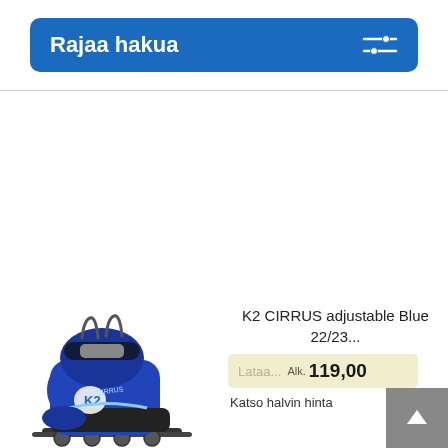Rajaa hakua
[Figure (screenshot): K2 CIRRUS adjustable Blue inline skate, blue and black children's rollerblade shoe]
K2 CIRRUS adjustable Blue 22/23...
Lataa...
Alk. 119,00
Katso halvin hinta